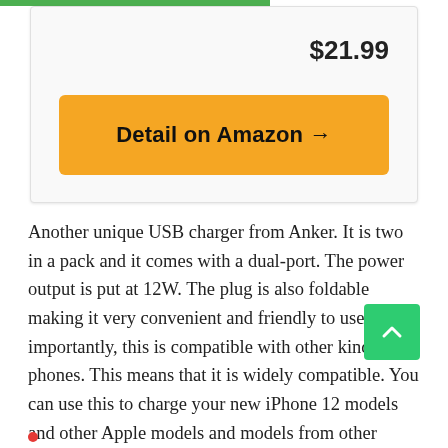$21.99
[Figure (screenshot): Yellow 'Detail on Amazon →' button]
Another unique USB charger from Anker. It is two in a pack and it comes with a dual-port. The power output is put at 12W. The plug is also foldable making it very convenient and friendly to use. Most importantly, this is compatible with other kinds of phones. This means that it is widely compatible. You can use this to charge your new iPhone 12 models and other Apple models and models from other brands including androids.